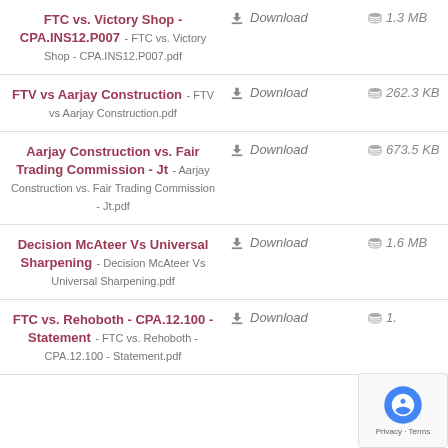FTC vs. Victory Shop - CPA.INS12.P007 - FTC vs. Victory Shop - CPA.INS12.P007.pdf | Download | 1.3 MB
FTV vs Aarjay Construction - FTV vs Aarjay Construction.pdf | Download | 262.3 KB
Aarjay Construction vs. Fair Trading Commission - Jt - Aarjay Construction vs. Fair Trading Commission - Jt.pdf | Download | 673.5 KB
Decision McAteer Vs Universal Sharpening - Decision McAteer Vs Universal Sharpening.pdf | Download | 1.6 MB
FTC vs. Rehoboth - CPA.12.100 - Statement - FTC vs. Rehoboth - CPA.12.100 - Statement.pdf | Download | 1.? MB